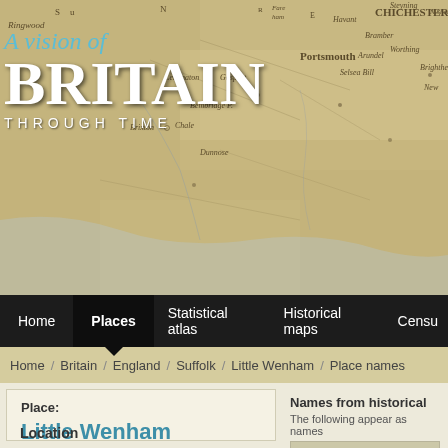[Figure (map): Vintage historical map of southern England showing place names including Chichester, Portsmouth, Arundel, Worthing, Brighthelmstone and other coastal towns. The 'A Vision of BRITAIN THROUGH TIME' website header is overlaid on the map.]
A vision of BRITAIN THROUGH TIME
Home  Places  Statistical atlas  Historical maps  Censu
Home / Britain / England / Suffolk / Little Wenham / Place names
Place:
Little Wenham Suffolk
Location
Names from historical
The following appear as names
| Name |
| --- |
| LITTLE WENHAM |